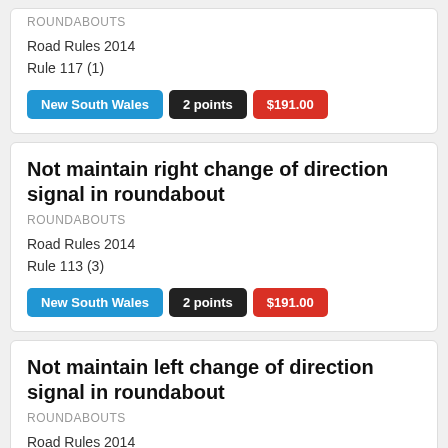ROUNDABOUTS
Road Rules 2014
Rule 117 (1)
New South Wales  2 points  $191.00
Not maintain right change of direction signal in roundabout
ROUNDABOUTS
Road Rules 2014
Rule 113 (3)
New South Wales  2 points  $191.00
Not maintain left change of direction signal in roundabout
ROUNDABOUTS
Road Rules 2014